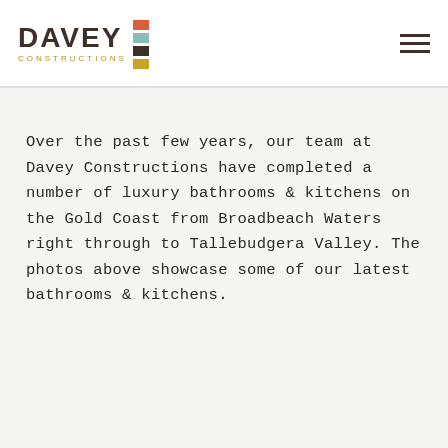[Figure (logo): Davey Constructions logo with bold dark text 'DAVEY', subtitle 'CONSTRUCTIONS' in gold, and colored vertical bar segments (red, teal, dark, gold) to the right]
Over the past few years, our team at Davey Constructions have completed a number of luxury bathrooms & kitchens on the Gold Coast from Broadbeach Waters right through to Tallebudgera Valley. The photos above showcase some of our latest bathrooms & kitchens.